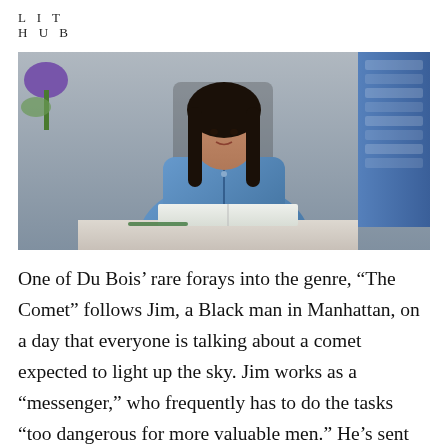LIT HUB
[Figure (photo): A woman with long dark hair wearing a denim shirt sits at a white table with an open book. There is a bookshelf visible on the right and a purple plant on the left. The background is a grey/blue studio setting.]
One of Du Bois’ rare forays into the genre, “The Comet” follows Jim, a Black man in Manhattan, on a day that everyone is talking about a comet expected to light up the sky. Jim works as a “messenger,” who frequently has to do the tasks “too dangerous for more valuable men.” He’s sent into old, recently flooded underground vaults to retrieve some documents; after poking around the “fetid slime” and cobwebs, he finds